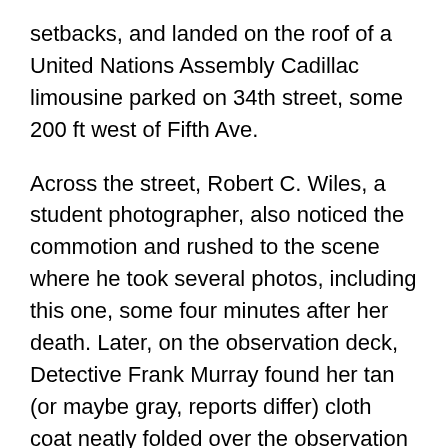setbacks, and landed on the roof of a United Nations Assembly Cadillac limousine parked on 34th street, some 200 ft west of Fifth Ave.
Across the street, Robert C. Wiles, a student photographer, also noticed the commotion and rushed to the scene where he took several photos, including this one, some four minutes after her death. Later, on the observation deck, Detective Frank Murray found her tan (or maybe gray, reports differ) cloth coat neatly folded over the observation deck wall, a brown make-up kit filled with family pictures and a black pocketbook with the note which read:
“I don’t want anyone in or out of my family to see any part of me. Could you destroy my body by cremation? I beg of you and my family – don’t have any service for me or